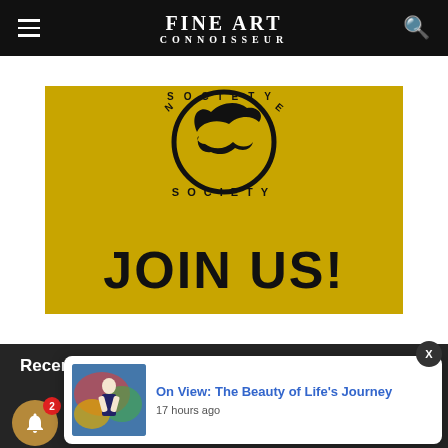FINE ART CONNOISSEUR
[Figure (illustration): Yellow banner ad for a society with logo of a bird/eagle silhouette in a circular badge, text 'SOCIETY' above and 'JOIN US!' in large bold black letters on a gold/yellow background]
Recent Comments
CherieDawn Haas on Take a Virtual Tour of this "Visual Journey"
Lordier on Take a Virtual Tour of this "Visual Journey"
[Figure (screenshot): Notification popup showing 'On View: The Beauty of Life's Journey' with thumbnail image of a woman in front of colourful artwork, timestamp '17 hours ago']